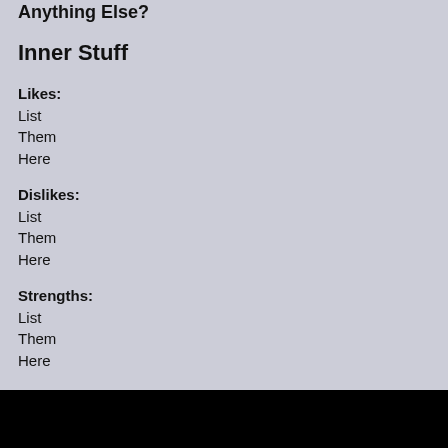Inner Stuff
Likes:
List
Them
Here
Dislikes:
List
Them
Here
Strengths:
List
Them
Here
Weaknesses:
List
Them
Here
Goal(s):
Put here